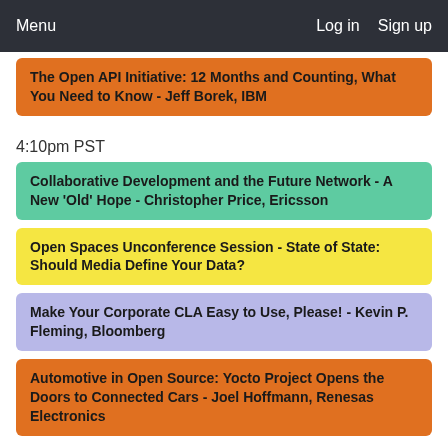Menu   Log in   Sign up
The Open API Initiative: 12 Months and Counting, What You Need to Know - Jeff Borek, IBM
4:10pm PST
Collaborative Development and the Future Network - A New 'Old' Hope - Christopher Price, Ericsson
Open Spaces Unconference Session - State of State: Should Media Define Your Data?
Make Your Corporate CLA Easy to Use, Please! - Kevin P. Fleming, Bloomberg
Automotive in Open Source: Yocto Project Opens the Doors to Connected Cars - Joel Hoffmann, Renesas Electronics